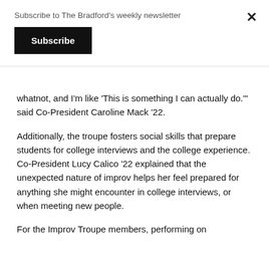Subscribe to The Bradford's weekly newsletter
Subscribe
whatnot, and I'm like 'This is something I can actually do.'" said Co-President Caroline Mack '22.
Additionally, the troupe fosters social skills that prepare students for college interviews and the college experience. Co-President Lucy Calico '22 explained that the unexpected nature of improv helps her feel prepared for anything she might encounter in college interviews, or when meeting new people.
For the Improv Troupe members, performing on